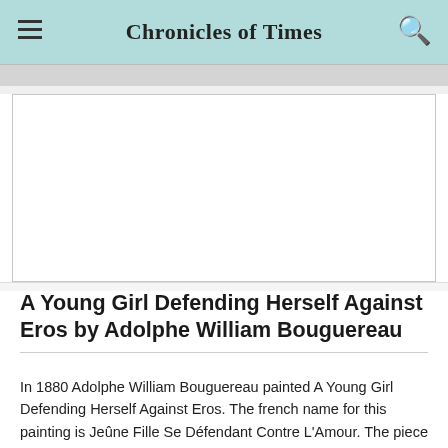Chronicles of Times
[Figure (illustration): White blank image placeholder area with light border, representing a painting or photo content area]
A Young Girl Defending Herself Against Eros by Adolphe William Bouguereau
In 1880 Adolphe William Bouguereau painted A Young Girl Defending Herself Against Eros. The french name for this painting is Jeûne Fille Se Défendant Contre L'Amour. The piece is considered one of...